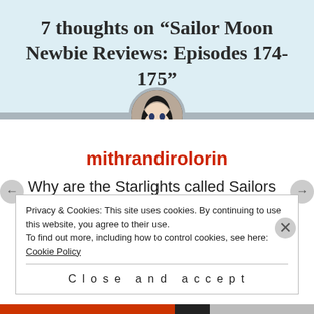7 thoughts on “Sailor Moon Newbie Reviews: Episodes 174-175”
mithrandirolorin
Why are the Starlights called Sailors when their not even remotely wearing Sailor Fuku?
Privacy & Cookies: This site uses cookies. By continuing to use this website, you agree to their use.
To find out more, including how to control cookies, see here: Cookie Policy
Close and accept